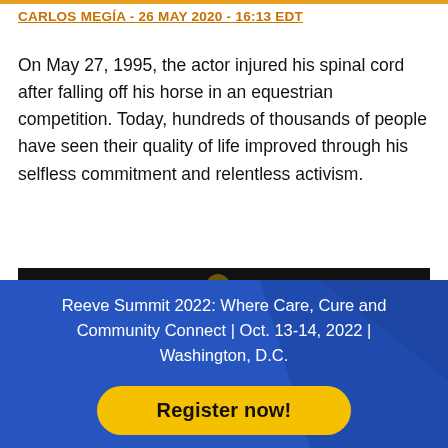CARLOS MEGÍA - 26 MAY 2020 - 16:13 EDT
On May 27, 1995, the actor injured his spinal cord after falling off his horse in an equestrian competition. Today, hundreds of thousands of people have seen their quality of life improved through his selfless commitment and relentless activism.
[Figure (photo): Black and white photo of a person in a wheelchair at night, with a sign in the background reading 'PLEASE DO NOT STOP & STARING']
Reeve Summit 2022: Where Care, Cure and Community Connect | Oct. 13-14, 2022 | Washington, D.C.
Register now!